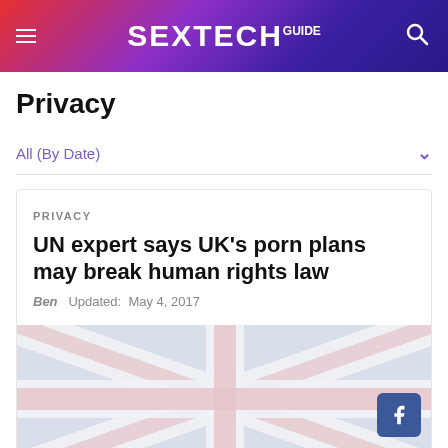SEXTECH GUIDE
Privacy
All (By Date)
PRIVACY
UN expert says UK's porn plans may break human rights law
Ben   Updated:  May 4, 2017
[Figure (photo): UK Union Jack flag, faded/washed out colors, partially visible]